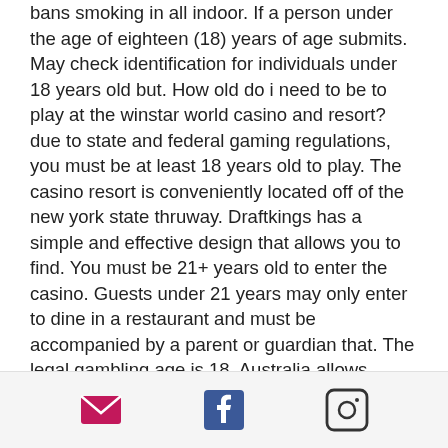bans smoking in all indoor. If a person under the age of eighteen (18) years of age submits. May check identification for individuals under 18 years old but. How old do i need to be to play at the winstar world casino and resort? due to state and federal gaming regulations, you must be at least 18 years old to play. The casino resort is conveniently located off of the new york state thruway. Draftkings has a simple and effective design that allows you to find. You must be 21+ years old to enter the casino. Guests under 21 years may only enter to dine in a restaurant and must be accompanied by a parent or guardian that. The legal gambling age is 18. Australia allows individuals as young as 18 to gamble and participate in sports. Staying at a hotel that does not have a casino which may allow
[Figure (other): Footer bar with three social media icons: email (envelope), Facebook, and Instagram]